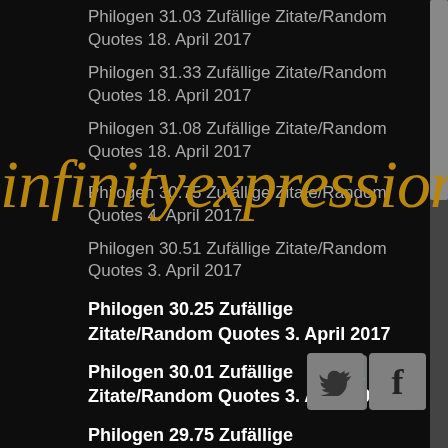Philogen 31.03 Zufällige Zitate/Random Quotes 18. April 2017
Philogen 31.33 Zufällige Zitate/Random Quotes 18. April 2017
Philogen 31.08 Zufällige Zitate/Random Quotes 18. April 2017
Philogen 30.75 Zufällige Zitate/Random Quotes 4. April 2017
Philogen 30.51 Zufällige Zitate/Random Quotes 3. April 2017
Philogen 30.25 Zufällige Zitate/Random Quotes 3. April 2017
Philogen 30.01 Zufällige Zitate/Random Quotes 3. April 2017
Philogen 29.75 Zufällige Zitate/Random Quotes 3. April 2017
Philogen 29.51 Zufällige Zitate/Random Quotes 3. April 2017
Philogen 29.35 Zufällige Zitate/Random Quotes 3. April 2017